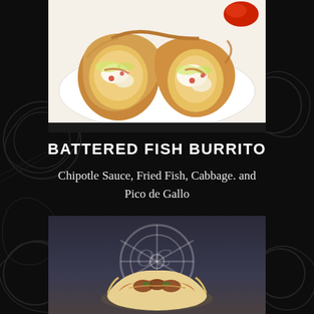[Figure (photo): Photo of a battered fish burrito cut in half showing the filling, placed on a white plate with a red pepper in the background]
BATTERED FISH BURRITO
Chipotle Sauce, Fried Fish, Cabbage. and Pico de Gallo
[Figure (photo): Photo of a burrito/wrap with meat filling on a dark background with decorative white graphic design]